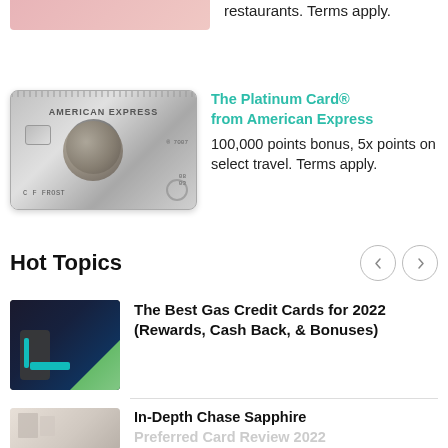restaurants. Terms apply.
[Figure (photo): American Express Platinum Card image]
The Platinum Card® from American Express 100,000 points bonus, 5x points on select travel. Terms apply.
Hot Topics
[Figure (photo): Person charging an electric vehicle at a charging station]
The Best Gas Credit Cards for 2022 (Rewards, Cash Back, & Bonuses)
[Figure (photo): Hotel room interior]
In-Depth Chase Sapphire Preferred Card Review 2022